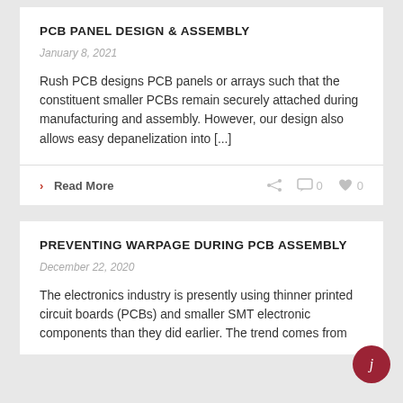PCB PANEL DESIGN & ASSEMBLY
January 8, 2021
Rush PCB designs PCB panels or arrays such that the constituent smaller PCBs remain securely attached during manufacturing and assembly. However, our design also allows easy depanelization into [...]
› Read More
PREVENTING WARPAGE DURING PCB ASSEMBLY
December 22, 2020
The electronics industry is presently using thinner printed circuit boards (PCBs) and smaller SMT electronic components than they did earlier. The trend comes from